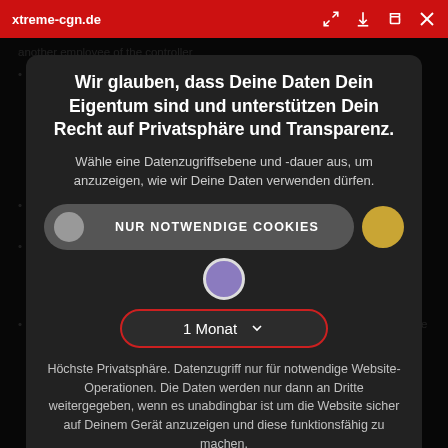xtreme-cgn.de
another employee of the controller
Wir glauben, dass Deine Daten Dein Eigentum sind und unterstützen Dein Recht auf Privatsphäre und Transparenz.
Wähle eine Datenzugriffsebene und -dauer aus, um anzuzeigen, wie wir Deine Daten verwenden dürfen.
NUR NOTWENDIGE COOKIES
1 Monat
Höchste Privatsphäre. Datenzugriff nur für notwendige Website-Operationen. Die Daten werden nur dann an Dritte weitergegeben, wenn es unabdingbar ist um die Website sicher auf Deinem Gerät anzuzeigen und diese funktionsfähig zu machen.